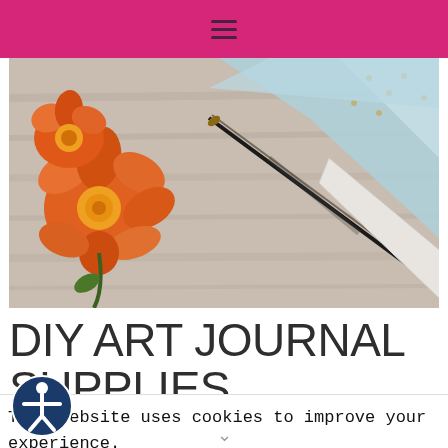≡
[Figure (photo): Art journal supplies on a wooden surface: orange flowers, blue patterned paper, a calligraphy pen, and a white bone folder]
DIY ART JOURNAL SUPPLIES
I used various papers for each DIY art
This website uses cookies to improve your experience. We'll assume you're ok with this, but you can opt-out if